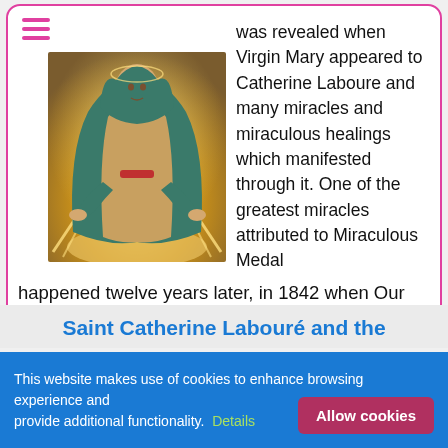[Figure (illustration): Religious painting of the Virgin Mary in a green cloak with hands extended, rays of light emanating from her hands, standing on clouds, golden background.]
was revealed when Virgin Mary appeared to Catherine Laboure and many miracles and miraculous healings which manifested through it. One of the greatest miracles attributed to Miraculous Medal happened twelve years later, in 1842 when Our Lady of Miracle again appeared to a man wearing the Miraculous Medal. The man was Marie Alphonse
Saint Catherine Labouré and the
This website makes use of cookies to enhance browsing experience and provide additional functionality. Details
Allow cookies